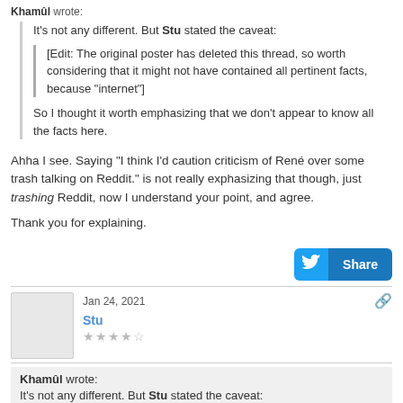Khamûl wrote: It's not any different. But Stu stated the caveat:
[Edit: The original poster has deleted this thread, so worth considering that it might not have contained all pertinent facts, because "internet"]
So I thought it worth emphasizing that we don't appear to know all the facts here.
Ahha I see. Saying "I think I'd caution criticism of René over some trash talking on Reddit." is not really exphasizing that though, just trashing Reddit, now I understand your point, and agree.
Thank you for explaining.
Jan 24, 2021
Stu
Khamûl wrote: It's not any different. But Stu stated the caveat: